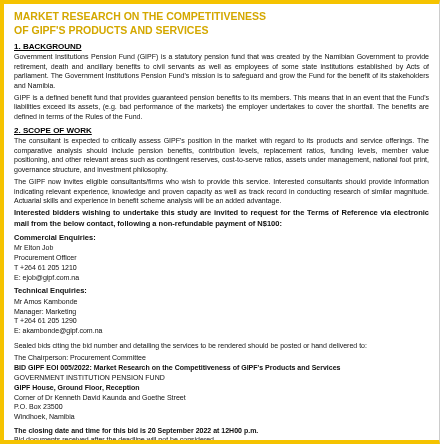MARKET RESEARCH ON THE COMPETITIVENESS OF GIPF'S PRODUCTS AND SERVICES
1. BACKGROUND
Government Institutions Pension Fund (GIPF) is a statutory pension fund that was created by the Namibian Government to provide retirement, death and ancillary benefits to civil servants as well as employees of some state institutions established by Acts of parliament. The Government Institutions Pension Fund's mission is to safeguard and grow the Fund for the benefit of its stakeholders and Namibia.
GIPF is a defined benefit fund that provides guaranteed pension benefits to its members. This means that in an event that the Fund's liabilities exceed its assets, (e.g. bad performance of the markets) the employer undertakes to cover the shortfall. The benefits are defined in terms of the Rules of the Fund.
2. SCOPE OF WORK
The consultant is expected to critically assess GIPF's position in the market with regard to its products and service offerings. The comparative analysis should include pension benefits, contribution levels, replacement ratios, funding levels, member value positioning, and other relevant areas such as contingent reserves, cost-to-serve ratios, assets under management, national foot print, governance structure, and investment philosophy.
The GIPF now invites eligible consultants/firms who wish to provide this service. Interested consultants should provide information indicating relevant experience, knowledge and proven capacity as well as track record in conducting research of similar magnitude. Actuarial skills and experience in benefit scheme analysis will be an added advantage.
Interested bidders wishing to undertake this study are invited to request for the Terms of Reference via electronic mail from the below contact, following a non-refundable payment of N$100:
Commercial Enquiries:
Mr Elton Job
Procurement Officer
T +264 61 205 1210
E: ejob@gipf.com.na
Technical Enquiries:
Mr Amos Kambonde
Manager: Marketing
T +264 61 205 1290
E: akambonde@gipf.com.na
Sealed bids citing the bid number and detailing the services to be rendered should be posted or hand delivered to:
The Chairperson: Procurement Committee
BID GIPF EOI 005/2022: Market Research on the Competitiveness of GIPF's Products and Services
GOVERNMENT INSTITUTION PENSION FUND
GIPF House, Ground Floor, Reception
Corner of Dr Kenneth David Kaunda and Goethe Street
P.O. Box 23500
Windhoek, Namibia
The closing date and time for this bid is 20 September 2022 at 12H00 p.m.
Bid documents received after the deadline will not be considered.